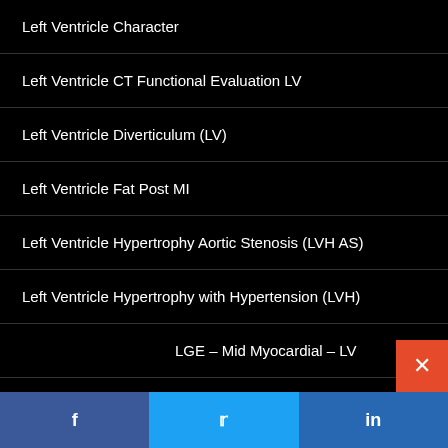Left Ventricle Character
Left Ventricle CT Functional Evaluation LV
Left Ventricle Diverticulum (LV)
Left Ventricle Fat Post MI
Left Ventricle Hypertrophy Aortic Stenosis (LVH AS)
Left Ventricle Hypertrophy with Hypertension (LVH)
Left Ventricle LGE – Mid Myocardial – LV
Left Ventricle LGE Subendocardial
Left Ventricle Map
Left Ventricle Non Compaction, LV Non Compaction
Left Ventricle Parts